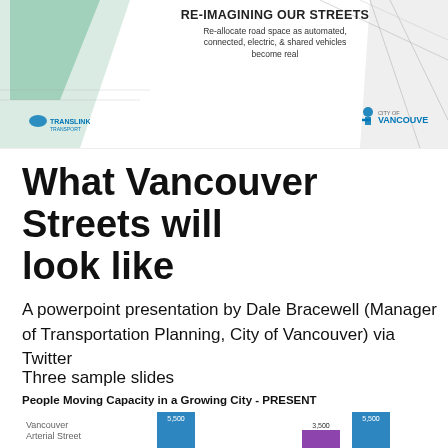[Figure (infographic): Slide header image showing 'RE-IMAGINING OUR STREETS' with subtitle 'Re-allocate road space as automated, connected, electric, & shared vehicles become real', with architectural/street rendering in background, and two logos (TransLink and City of Vancouver)]
What Vancouver Streets will look like
A powerpoint presentation by Dale Bracewell (Manager of Transportation Planning, City of Vancouver) via Twitter
Three sample slides
People Moving Capacity in a Growing City - PRESENT
[Figure (bar-chart): Bar chart showing Vancouver Arterial Street people moving capacity, with bars at 5,500 and 5,500 and a smaller bar at 3,500]